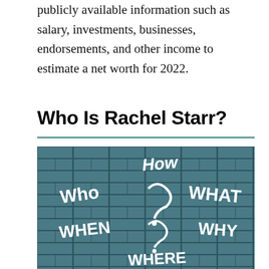publicly available information such as salary, investments, businesses, endorsements, and other income to estimate a net worth for 2022.
Who Is Rachel Starr?
[Figure (photo): A blue-grey painted brick wall with white graffiti-style text reading 'How', 'Who', 'What', 'When', 'Why', 'Where' in handwritten style lettering]